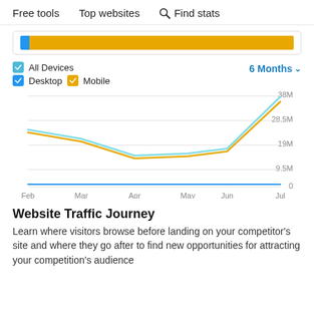Free tools   Top websites   🔍 Find stats
[Figure (other): Horizontal bar with a small blue segment on the left and a large yellow/gold segment filling the rest]
[Figure (line-chart): ]
Website Traffic Journey
Learn where visitors browse before landing on your competitor's site and where they go after to find new opportunities for attracting your competition's audience